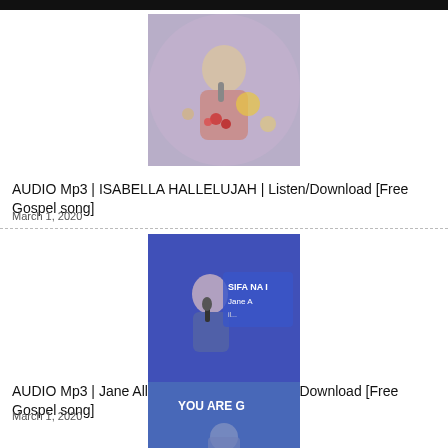[Figure (photo): A woman singing, bokeh lights in background]
AUDIO Mp3 | ISABELLA HALLELUJAH | Listen/Download [Free Gospel song]
March 1, 2020
[Figure (photo): A woman singing into a microphone with 'SIFA NA IBADA Jane A...' text on blue background]
AUDIO Mp3 | Jane Aller Sifa na Ibada | Listen/Download [Free Gospel song]
March 1, 2020
[Figure (photo): Person performing with 'YOU ARE G...' text on blue/purple background]